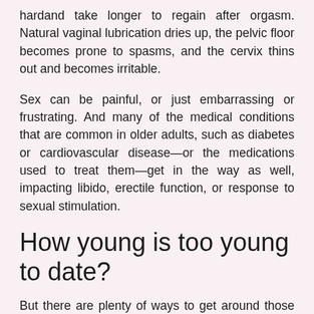hardand take longer to regain after orgasm. Natural vaginal lubrication dries up, the pelvic floor becomes prone to spasms, and the cervix thins out and becomes irritable.
Sex can be painful, or just embarrassing or frustrating. And many of the medical conditions that are common in older adults, such as diabetes or cardiovascular disease—or the medications used to treat them—get in the way as well, impacting libido, erectile function, or response to sexual stimulation.
How young is too young to date?
But there are plenty of ways to get around those limitations, from Viagra to hormone-replacement therapies to lubricants. And more than that, an